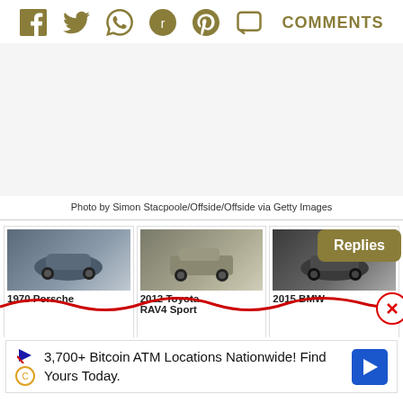[Figure (screenshot): Social sharing bar with icons for Facebook, Twitter, WhatsApp, Reddit, Pinterest, Comments bubble, and COMMENTS text label in olive/gold color]
[Figure (screenshot): Gray advertisement placeholder area]
Photo by Simon Stacpoole/Offside/Offside via Getty Images
[Figure (screenshot): Car listings row showing three car cards: 1970 Porsche, 2012 Toyota RAV4 Sport, 2015 BMW. A 'Replies' button overlay appears top right. A red squiggle line and red X close button appear at bottom right.]
[Figure (screenshot): Bitcoin ATM advertisement banner: '3,700+ Bitcoin ATM Locations Nationwide! Find Yours Today.' with play/ad icons on left and blue navigation arrow on right]